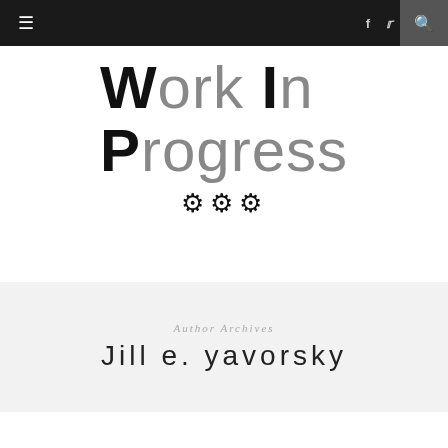≡  f  🐦  🔍
[Figure (logo): Work In Progress logo with large bold W and P initials in black, remaining letters in gray, with three gear icons below]
Author Archives
Jill e. yavorsky